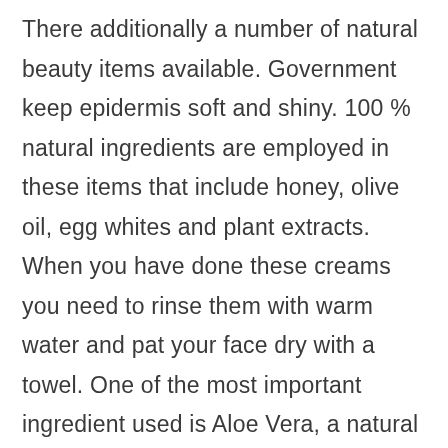There additionally a number of natural beauty items available. Government keep epidermis soft and shiny. 100 % natural ingredients are employed in these items that include honey, olive oil, egg whites and plant extracts. When you have done these creams you need to rinse them with warm water and pat your face dry with a towel. One of the most important ingredient used is Aloe Vera, a natural plant with beneficial anti bacterial properties that protects the skin from microbial infection. Aloe Vera is efficient ingredient in many skin care treatments. Might be also a quality product to appease sun burnt skin. Honey is yet another very useful ingredient which has an antioxidant property assists to soften the affected.